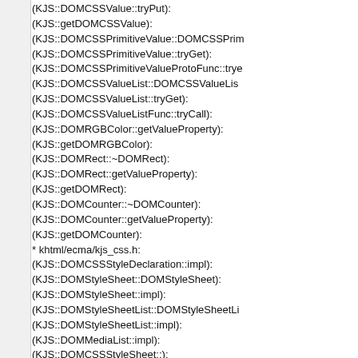(KJS::DOMCSSValue::tryPut):
(KJS::getDOMCSSValue):
(KJS::DOMCSSPrimitiveValue::DOMCSSPrim...
(KJS::DOMCSSPrimitiveValue::tryGet):
(KJS::DOMCSSPrimitiveValueProtoFunc::try...
(KJS::DOMCSSValueList::DOMCSSValueLis...
(KJS::DOMCSSValueList::tryGet):
(KJS::DOMCSSValueListFunc::tryCall):
(KJS::DOMRGBColor::getValueProperty):
(KJS::getDOMRGBColor):
(KJS::DOMRect::~DOMRect):
(KJS::DOMRect::getValueProperty):
(KJS::getDOMRect):
(KJS::DOMCounter::~DOMCounter):
(KJS::DOMCounter::getValueProperty):
(KJS::getDOMCounter):
* khtml/ecma/kjs_css.h:
(KJS::DOMCSSStyleDeclaration::impl):
(KJS::DOMStyleSheet::DOMStyleSheet):
(KJS::DOMStyleSheet::impl):
(KJS::DOMStyleSheetList::DOMStyleSheetLi...
(KJS::DOMStyleSheetList::impl):
(KJS::DOMMediaList::impl):
(KJS::DOMCSSStyleSheet::):
(KJS::DOMCSSRuleList::DOMCSSRuleList):
(KJS::DOMCSSRuleList::impl):
(KJS::DOMCSSRule::DOMCSSRule):
(KJS::DOMCSSRule::impl):
(KJS::DOMCSSValue::DOMCSSValue):
(KJS::DOMCSSValue::impl):